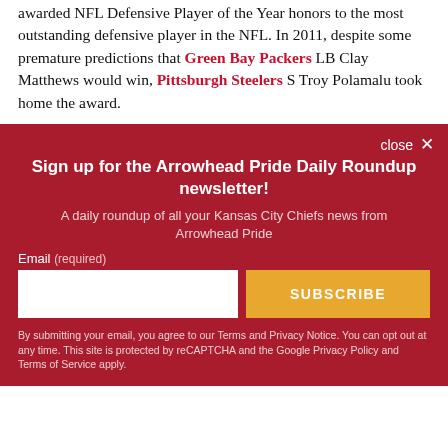awarded NFL Defensive Player of the Year honors to the most outstanding defensive player in the NFL. In 2011, despite some premature predictions that Green Bay Packers LB Clay Matthews would win, Pittsburgh Steelers S Troy Polamalu took home the award.
close ×
Sign up for the Arrowhead Pride Daily Roundup newsletter!
A daily roundup of all your Kansas City Chiefs news from Arrowhead Pride
Email (required)
SUBSCRIBE
By submitting your email, you agree to our Terms and Privacy Notice. You can opt out at any time. This site is protected by reCAPTCHA and the Google Privacy Policy and Terms of Service apply.